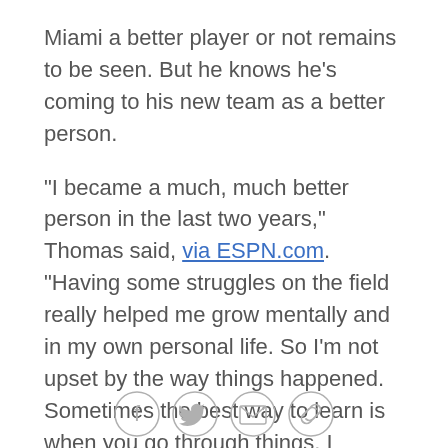Miami a better player or not remains to be seen. But he knows he's coming to his new team as a better person.
"I became a much, much better person in the last two years," Thomas said, via ESPN.com. "Having some struggles on the field really helped me grow mentally and in my own personal life. So I'm not upset by the way things happened. Sometimes the best way to learn is when you go through things. I definitely took advantage of that in my own life."
He dug a little deeper: "I think sometimes you get the impression that your success on the field defines who you are as a person and how well you're living your life, and that's really not the case. As you get older you start to realize that. When you're 25 or 26, have amazing
[Figure (other): Social sharing icons: Facebook, Twitter, Email, Link]